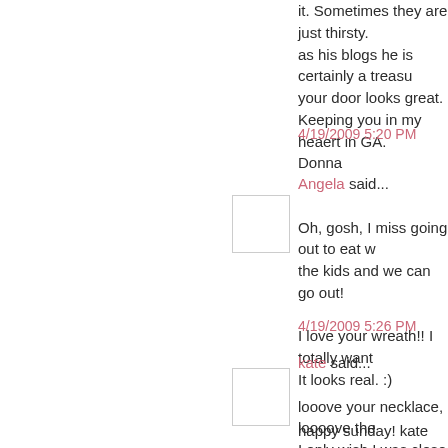it. Sometimes they are just thirsty. as his blogs he is certainly a treasure your door looks great.
Keeping you in my heaert in GA.
Donna
4/19/2009 5:20 PM
Angela said...
Oh, gosh, I miss going out to eat w the kids and we can go out!
I love your wreath!! I totally want It looks real. :)
4/19/2009 5:26 PM
kate said...
looove your necklace, loooove the I only wish I was close to come he
happy sunday! kate